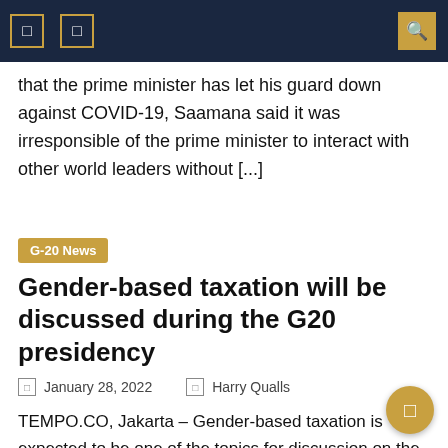Navigation header bar with icons and search
that the prime minister has let his guard down against COVID-19, Saamana said it was irresponsible of the prime minister to interact with other world leaders without [...]
G-20 News
Gender-based taxation will be discussed during the G20 presidency
January 28, 2022   Harry Qualls
TEMPO.CO, Jakarta – Gender-based taxation is expected to be one of the topics for discussion on the agenda of this year's G20 meeting by the Organization for Economic Co-operation and Development (OECD). Wemp Saputra, the Ministry of Finance's expert for macroeconomics and international finance, said on Friday: "For the first time,